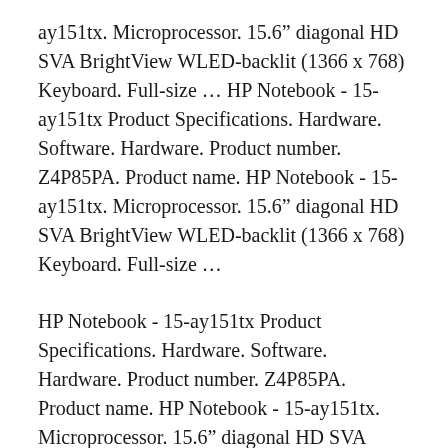ay151tx. Microprocessor. 15.6" diagonal HD SVA BrightView WLED-backlit (1366 x 768) Keyboard. Full-size ... HP Notebook - 15-ay151tx Product Specifications. Hardware. Software. Hardware. Product number. Z4P85PA. Product name. HP Notebook - 15-ay151tx. Microprocessor. 15.6" diagonal HD SVA BrightView WLED-backlit (1366 x 768) Keyboard. Full-size ...
HP Notebook - 15-ay151tx Product Specifications. Hardware. Software. Hardware. Product number. Z4P85PA. Product name. HP Notebook - 15-ay151tx. Microprocessor. 15.6" diagonal HD SVA BrightView WLED-backlit (1366 x 768) Keyboard. Full-size ... HP Notebook - 15-ay151tx Product Specifications. Hardware. Software. Hardware.